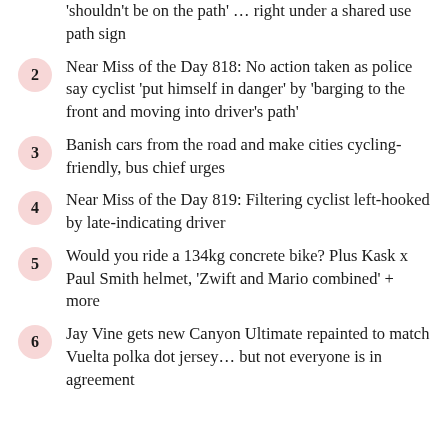'shouldn't be on the path' … right under a shared use path sign
2 Near Miss of the Day 818: No action taken as police say cyclist 'put himself in danger' by 'barging to the front and moving into driver's path'
3 Banish cars from the road and make cities cycling-friendly, bus chief urges
4 Near Miss of the Day 819: Filtering cyclist left-hooked by late-indicating driver
5 Would you ride a 134kg concrete bike? Plus Kask x Paul Smith helmet, 'Zwift and Mario combined' + more
6 Jay Vine gets new Canyon Ultimate repainted to match Vuelta polka dot jersey… but not everyone is in agreement